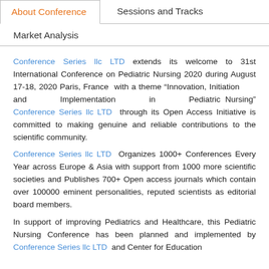About Conference
Sessions and Tracks
Market Analysis
Conference Series llc LTD extends its welcome to 31st International Conference on Pediatric Nursing 2020 during August 17-18, 2020 Paris, France with a theme “Innovation, Initiation and Implementation in Pediatric Nursing” Conference Series llc LTD through its Open Access Initiative is committed to making genuine and reliable contributions to the scientific community.
Conference Series llc LTD Organizes 1000+ Conferences Every Year across Europe & Asia with support from 1000 more scientific societies and Publishes 700+ Open access journals which contain over 100000 eminent personalities, reputed scientists as editorial board members.
In support of improving Pediatrics and Healthcare, this Pediatric Nursing Conference has been planned and implemented by Conference Series llc LTD and Center for Education